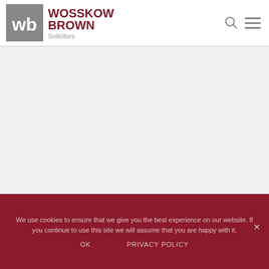[Figure (logo): Wosskow Brown Solicitors logo — grey square with 'wb' initials and company name in dark red text]
We use cookies to ensure that we give you the best experience on our website. If you continue to use this site we will assume that you are happy with it.
OK
PRIVACY POLICY